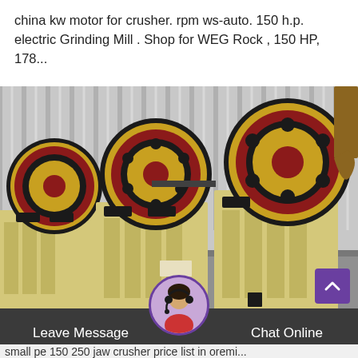china kw motor for crusher. rpm ws-auto. 150 h.p. electric Grinding Mill . Shop for WEG Rock , 150 HP, 178...
[Figure (photo): Multiple large yellow jaw crusher machines with red and black flywheel discs lined up inside an industrial warehouse with corrugated metal walls.]
Leave Message   Chat Online
small pe 150 250 jaw crusher price list in oremi...